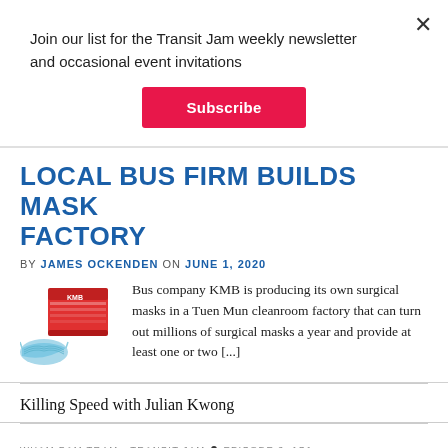Join our list for the Transit Jam weekly newsletter and occasional event invitations
Subscribe
LOCAL BUS FIRM BUILDS MASK FACTORY
BY JAMES OCKENDEN ON JUNE 1, 2020
[Figure (photo): Box of surgical masks with a blue surgical mask in front]
Bus company KMB is producing its own surgical masks in a Tuen Mun cleanroom factory that can turn out millions of surgical masks a year and provide at least one or two [...]
Killing Speed with Julian Kwong
WHAM BAM TRAM - TRANSIT JAM • EPISODE 2, 1S1
Killing speed with Julian Kwong